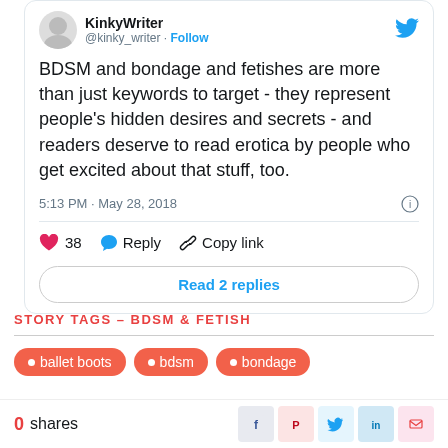[Figure (screenshot): Twitter/X tweet card from user KinkyWriter (@kinky_writer) with a Follow button, Twitter bird logo, tweet text about BDSM and bondage and fetishes, timestamp 5:13 PM May 28 2018, 38 likes, Reply and Copy link actions, and Read 2 replies button]
STORY TAGS – BDSM & FETISH
ballet boots  bdsm  bondage
0 shares